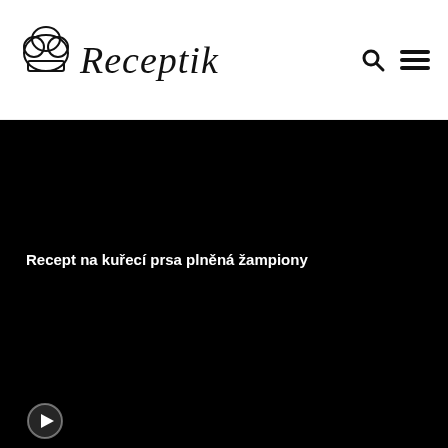Receptik
Recept na kuřecí prsa plněná žampiony
[Figure (photo): Large black video/image area showing a dark background with a recipe title overlay for chicken breasts stuffed with mushrooms]